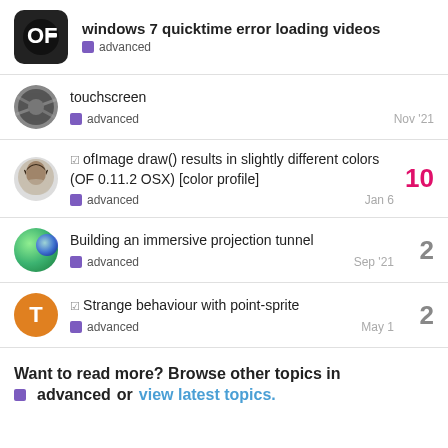windows 7 quicktime error loading videos — advanced
touchscreen — advanced — Nov '21
☑ ofImage draw() results in slightly different colors (OF 0.11.2 OSX) [color profile] — advanced — Jan 6 — 10 replies
Building an immersive projection tunnel — advanced — Sep '21 — 2 replies
☑ Strange behaviour with point-sprite — advanced — May 1 — 2 replies
Want to read more? Browse other topics in advanced or view latest topics.